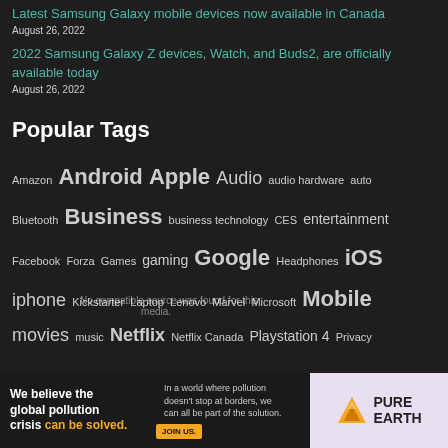Latest Samsung Galaxy mobile devices now available in Canada
August 26, 2022
2022 Samsung Galaxy Z devices, Watch, and Buds2, are officially available today
August 26, 2022
Popular Tags
Amazon Android Apple Audio audio hardware auto Bluetooth Business business technology CES entertainment Facebook Forza Games gaming Google Headphones iOS iphone Kickstarter Laptop Lenovo Marvel Microsoft Mobile movies music Netflix Netflix Canada Playstation 4 Privacy
[Figure (infographic): Pure Earth advertisement banner: 'We believe the global pollution crisis can be solved.' with orange JOIN US button and Pure Earth logo]